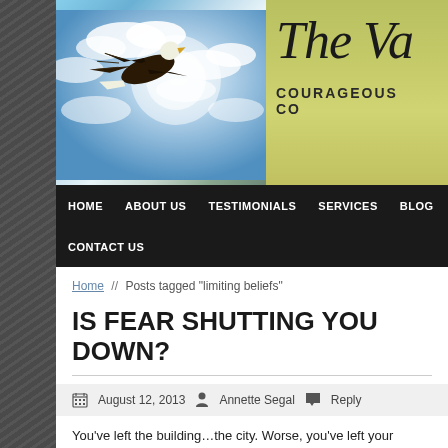[Figure (screenshot): Website header banner with a bald eagle flying against a blue sky with clouds on the left, and an olive-green/yellow background with cursive text 'The Va...' and 'COURAGEOUS CO...' on the right]
HOME   ABOUT US   TESTIMONIALS   SERVICES   BLOG   CONTACT US
Home // Posts tagged "limiting beliefs"
IS FEAR SHUTTING YOU DOWN?
August 12, 2013   Annette Segal   Reply
You've left the building…the city. Worse, you've left your